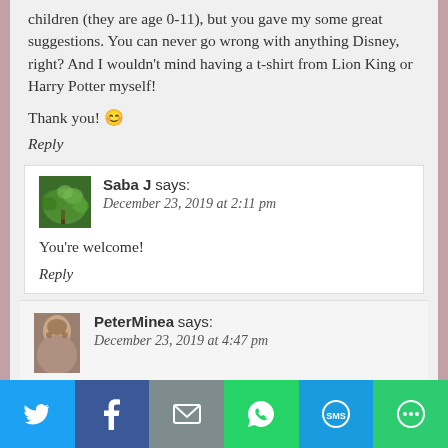children (they are age 0-11), but you gave my some great suggestions. You can never go wrong with anything Disney, right? And I wouldn't mind having a t-shirt from Lion King or Harry Potter myself!
Thank you! 😊
Reply
Saba J says: December 23, 2019 at 2:11 pm
You're welcome!
Reply
PeterMinea says: December 23, 2019 at 4:47 pm
[Figure (infographic): Social sharing bar with Twitter, Facebook, Email, WhatsApp, SMS, and More buttons]